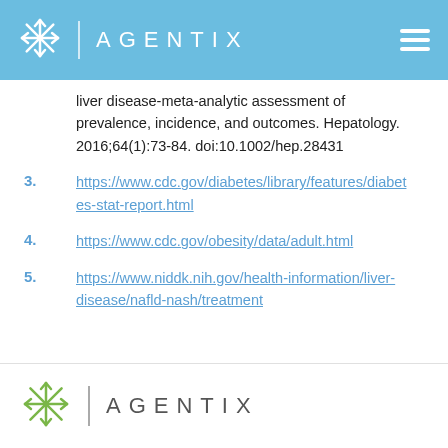AGENTIX
liver disease-meta-analytic assessment of prevalence, incidence, and outcomes. Hepatology. 2016;64(1):73-84. doi:10.1002/hep.28431
3. https://www.cdc.gov/diabetes/library/features/diabetes-stat-report.html
4. https://www.cdc.gov/obesity/data/adult.html
5. https://www.niddk.nih.gov/health-information/liver-disease/nafld-nash/treatment
AGENTIX